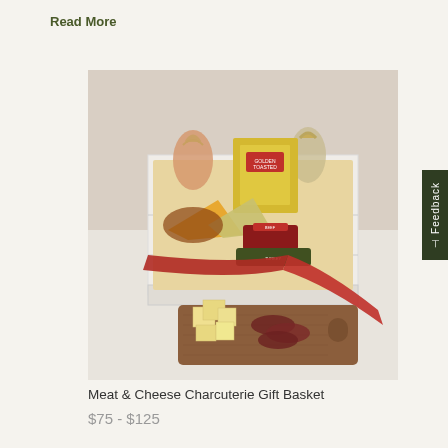Read More
[Figure (photo): A meat and cheese charcuterie gift basket in a white wooden crate filled with various cheeses, meats, crackers and condiments, with a red ribbon and a wooden cutting board displaying sliced meats and cheeses in the foreground.]
Meat & Cheese Charcuterie Gift Basket
$75 - $125